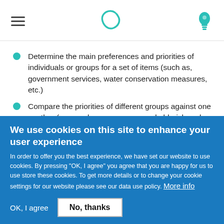[hamburger menu] [logo] [bulb icon]
Determine the main preferences and priorities of individuals or groups for a set of items (such as, government services, water conservation measures, etc.)
Compare the priorities of different groups against one another (men and women, young and old, rich and poor, etc.)
We use cookies on this site to enhance your user experience
In order to offer you the best experience, we have set our website to use cookies. By pressing "OK, I agree" you agree that you are happy for us to use store these cookies. To get more details or to change your cookie settings for our website please see our data use policy. More info
OK, I agree   No, thanks